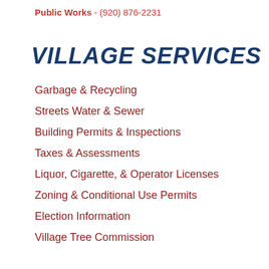Public Works - (920) 876-2231
VILLAGE SERVICES
Garbage & Recycling
Streets Water & Sewer
Building Permits & Inspections
Taxes & Assessments
Liquor, Cigarette, & Operator Licenses
Zoning & Conditional Use Permits
Election Information
Village Tree Commission